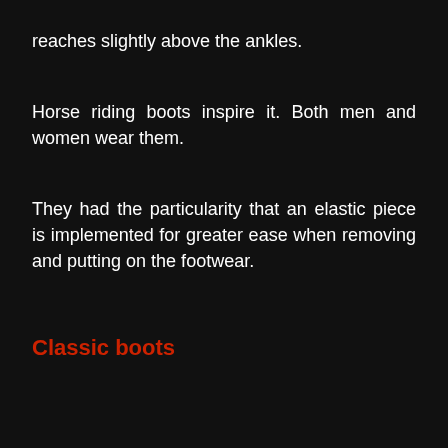reaches slightly above the ankles.
Horse riding boots inspire it. Both men and women wear them.
They had the particularity that an elastic piece is implemented for greater ease when removing and putting on the footwear.
Classic boots